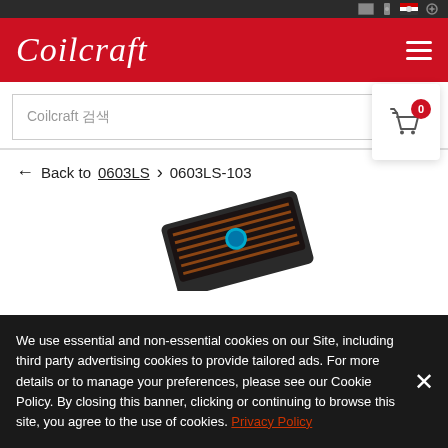[Figure (screenshot): Coilcraft website screenshot showing top utility bar with icons]
Coilcraft
Coilcraft 검색
← Back to 0603LS > 0603LS-103
[Figure (photo): Product photo of an electronic component (inductor/coil) with dark body and blue marking]
We use essential and non-essential cookies on our Site, including third party advertising cookies to provide tailored ads. For more details or to manage your preferences, please see our Cookie Policy. By closing this banner, clicking or continuing to browse this site, you agree to the use of cookies. Privacy Policy